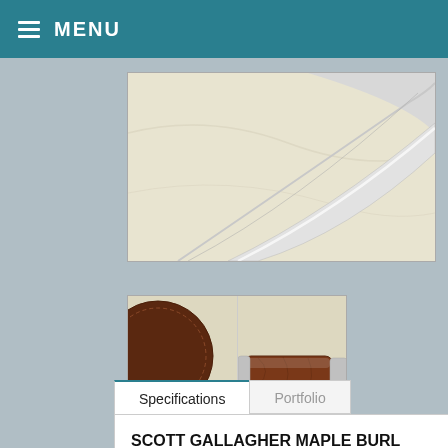MENU
[Figure (photo): Close-up cropped photo of a knife blade on a light marble/cream background]
[Figure (photo): Two side-by-side thumbnail images showing the handle of a knife with maple burl wood and silver bolsters, with a leather sheath visible on the left]
Specifications | Portfolio
SCOTT GALLAGHER MAPLE BURL SKINNER
Blade Length: 4.75"